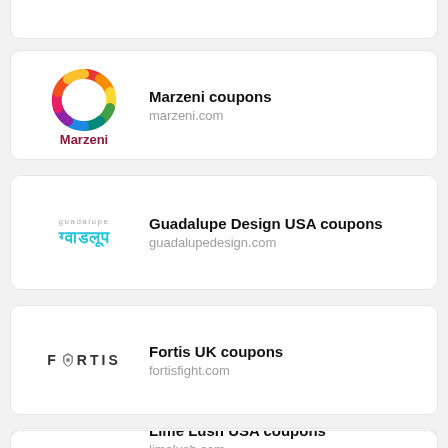[Figure (logo): Marzeni logo: colorful circular ring with 'Marzeni' text in dark red below]
Marzeni coupons
marzeni.com
[Figure (logo): Guadalupe Design logo: 'guadalupe' in small grey text and Devanagari script in teal below]
Guadalupe Design USA coupons
guadalupedesign.com
[Figure (logo): Fortis UK logo: FORTIS text with shield/crest replacing O letter]
Fortis UK coupons
fortisfight.com
[Figure (photo): Lime Lush USA photo: blonde woman in white shirt with Lime Lush branding]
Lime Lush USA coupons
limelush.com